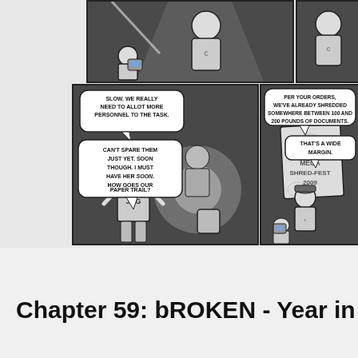[Figure (illustration): Comic strip top row: two panels showing characters including a person with a GameBoy-like device and tall figure in dark sci-fi setting]
[Figure (illustration): Comic strip middle row left panel: character labeled JOG speaking with speech bubbles: 'SLOW. WE REALLY NEED TO ALLOT MORE PERSONNEL TO THE TASK.' and 'CAN'T SPARE THEM JUST YET. SOON THOUGH. I MUST HAVE HER SOON. HOW GOES OUR PAPER TRAIL?']
[Figure (illustration): Comic strip middle row center panel: character looking at 'MEGA SHRED-FEST 2009' poster, speech bubble: 'PER YOUR ORDERS, WE'VE ALREADY SHREDDED SOMEWHERE BETWEEN 100 AND 200 POUNDS OF DOCUMENTS.' 'THAT'S A WIDE MARGIN.']
[Figure (illustration): Comic strip middle row right panel (partially cropped): frog character with speech bubble about Gennaro falling into giant shred-dumpster]
Chapter 59: bROKEN - Year in